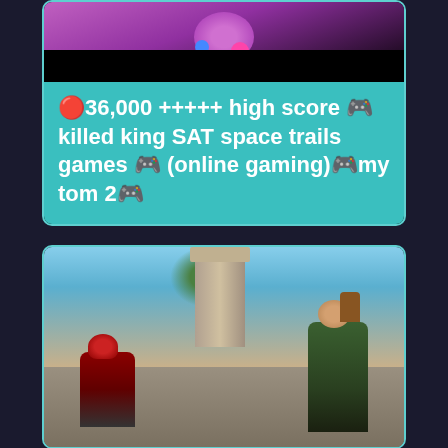[Figure (screenshot): Top portion of a mobile game card showing a purple glowing orb with blue and pink dots against a dark background with a black bar at the bottom, inside a teal-bordered card]
🔴36,000 +++++ high score 🎮 killed king SAT space trails games 🎮 (online gaming)🎮my tom 2🎮
[Figure (screenshot): Bottom card showing a video game screenshot with two armored characters on stone steps near a stone pillar with vines, sandy/sky background, enclosed in a teal-bordered card]